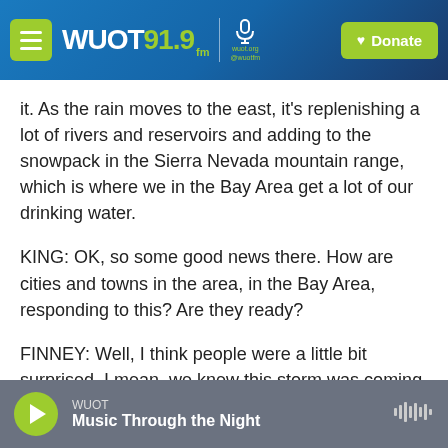WUOT 91.9 FM | wuot.org @wuotfm | Donate
it. As the rain moves to the east, it's replenishing a lot of rivers and reservoirs and adding to the snowpack in the Sierra Nevada mountain range, which is where we in the Bay Area get a lot of our drinking water.
KING: OK, so some good news there. How are cities and towns in the area, in the Bay Area, responding to this? Are they ready?
FINNEY: Well, I think people were a little bit surprised. I mean, we knew this storm was coming for a while, but cities in the Bay Area have been
WUOT | Music Through the Night